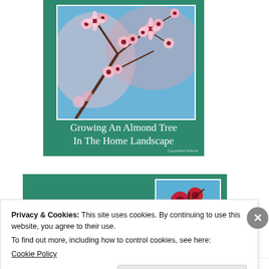[Figure (illustration): Book cover for 'Growing An Almond Tree In The Home Landscape' with a photo of pink almond blossoms on branches against a blue sky, teal/green background, white title text, and small copyright notice.]
[Figure (photo): Partial view of a second book cover with green background and a photo of pink-red almond blossoms.]
Privacy & Cookies: This site uses cookies. By continuing to use this website, you agree to their use.
To find out more, including how to control cookies, see here:
Cookie Policy
Close and accept